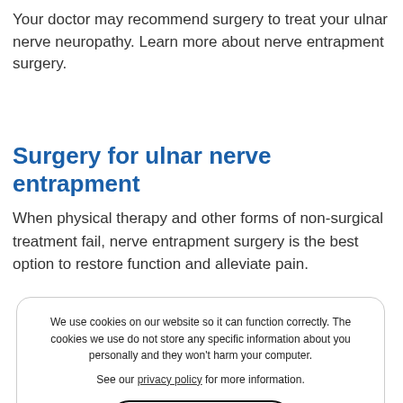Your doctor may recommend surgery to treat your ulnar nerve neuropathy. Learn more about nerve entrapment surgery.
Surgery for ulnar nerve entrapment
When physical therapy and other forms of non-surgical treatment fail, nerve entrapment surgery is the best option to restore function and alleviate pain.
We use cookies on our website so it can function correctly. The cookies we use do not store any specific information about you personally and they won't harm your computer.

See our privacy policy for more information.

Accept